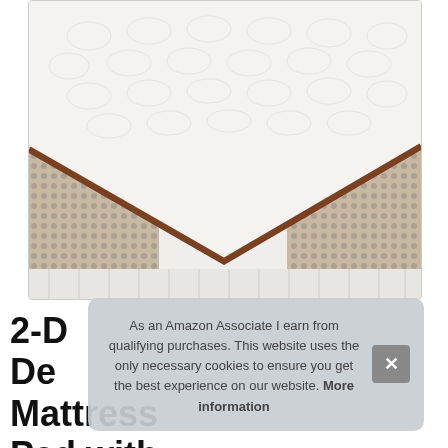[Figure (photo): Close-up photo of a mattress corner showing white quilted top surface with textured breathable mesh sides and brown piping trim detail.]
As an Amazon Associate I earn from qualifying purchases. This website uses the only necessary cookies to ensure you get the best experience on our website. More information
2-D... De... Mattress Pad with Removable Soft